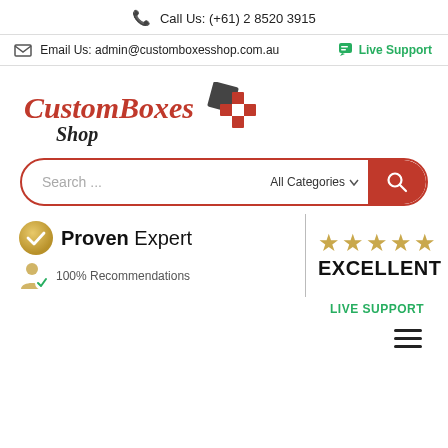Call Us: (+61) 2 8520 3915
Email Us: admin@customboxesshop.com.au   Live Support
[Figure (logo): CustomBoxes Shop logo with red italic text and geometric box icon in red and dark grey]
[Figure (screenshot): Search bar with 'Search ...' placeholder, 'All Categories' dropdown, and red search button]
[Figure (infographic): Proven Expert badge with gold checkmark circle, '100% Recommendations', 5 gold stars, and EXCELLENT rating. LIVE SUPPORT text in green.]